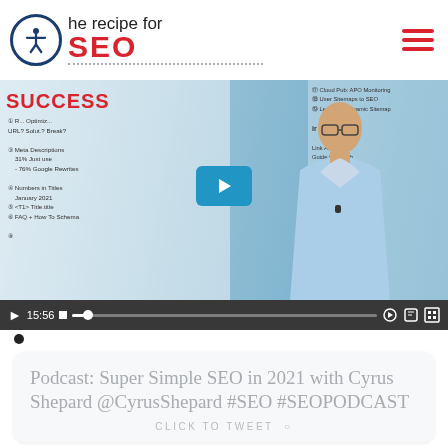The recipe for SEO SUCCESS
[Figure (screenshot): Video thumbnail showing a man in a light blue shirt in front of a whiteboard with SEO notes. Video controls show 15:56 duration. Red play button overlay in center. Title 'SUCCESS' in red text top-left.]
Podcast: Super Simple SEO in 2021 with Cyrus Shepard @CyrusShepard #SEO #SEOPODCAST
CLICK TO TWEET